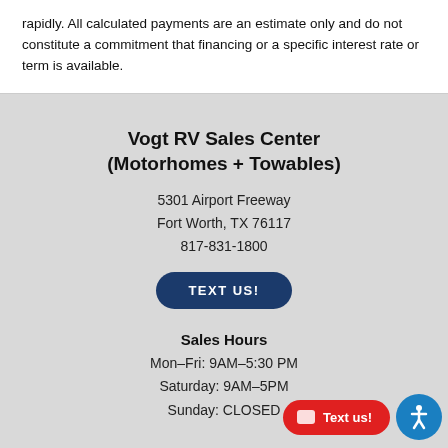rapidly. All calculated payments are an estimate only and do not constitute a commitment that financing or a specific interest rate or term is available.
Vogt RV Sales Center (Motorhomes + Towables)
5301 Airport Freeway
Fort Worth, TX 76117
817-831-1800
TEXT US!
Sales Hours
Mon–Fri: 9AM–5:30 PM
Saturday: 9AM–5PM
Sunday: CLOSED